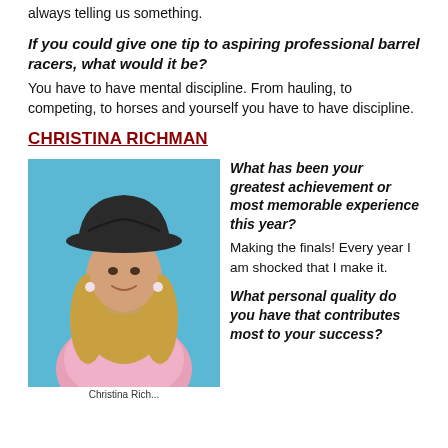always telling us something.
If you could give one tip to aspiring professional barrel racers, what would it be?
You have to have mental discipline. From hauling, to competing, to horses and yourself you have to have discipline.
CHRISTINA RICHMAN
[Figure (photo): Portrait photo of Christina Richman wearing a black cowboy hat and pink plaid shirt, smiling, with a blue background.]
Christina Rich...
What has been your greatest achievement or most memorable experience this year?
Making the finals! Every year I am shocked that I make it.
What personal quality do you have that contributes most to your success?